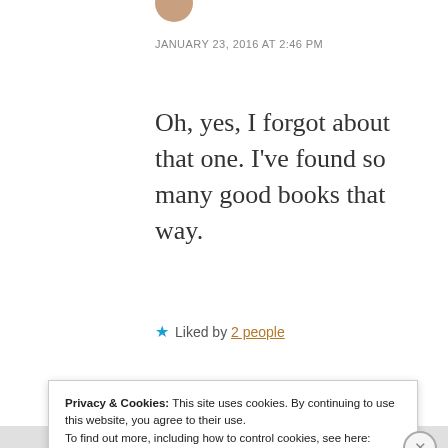[Figure (photo): Partial avatar/profile photo at top, cropped circle]
JANUARY 23, 2016 AT 2:46 PM
Oh, yes, I forgot about that one. I've found so many good books that way.
★ Liked by 2 people
REPLY
Privacy & Cookies: This site uses cookies. By continuing to use this website, you agree to their use.
To find out more, including how to control cookies, see here: Cookie Policy
Close and accept